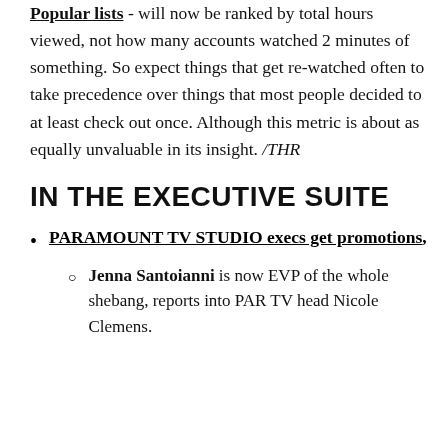Popular lists - will now be ranked by total hours viewed, not how many accounts watched 2 minutes of something. So expect things that get re-watched often to take precedence over things that most people decided to at least check out once. Although this metric is about as equally unvaluable in its insight. /THR
IN THE EXECUTIVE SUITE
PARAMOUNT TV STUDIO execs get promotions,
Jenna Santoianni is now EVP of the whole shebang, reports into PAR TV head Nicole Clemens.